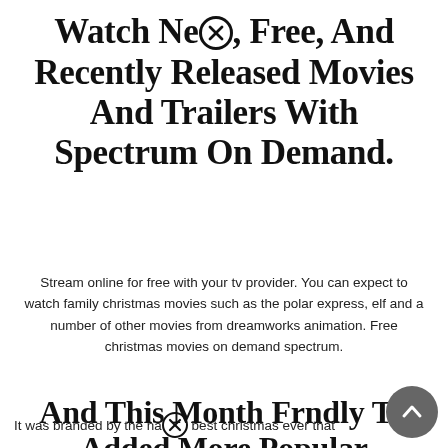Watch New, Free, And Recently Released Movies And Trailers With Spectrum On Demand.
Stream online for free with your tv provider. You can expect to watch family christmas movies such as the polar express, elf and a number of other movies from dreamworks animation. Free christmas movies on demand spectrum.
And This Month Frndly Tv Added More Popular Channels To Its Lineup—Such As Lifetime And Lmn.
It was branded by the name best christmas ever that